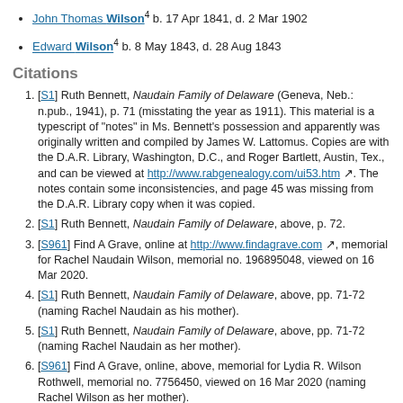John Thomas Wilson⁴ b. 17 Apr 1841, d. 2 Mar 1902
Edward Wilson⁴ b. 8 May 1843, d. 28 Aug 1843
Citations
[S1] Ruth Bennett, Naudain Family of Delaware (Geneva, Neb.: n.pub., 1941), p. 71 (misstating the year as 1911). This material is a typescript of "notes" in Ms. Bennett's possession and apparently was originally written and compiled by James W. Lattomus. Copies are with the D.A.R. Library, Washington, D.C., and Roger Bartlett, Austin, Tex., and can be viewed at http://www.rabgenealogy.com/ui53.htm. The notes contain some inconsistencies, and page 45 was missing from the D.A.R. Library copy when it was copied.
[S1] Ruth Bennett, Naudain Family of Delaware, above, p. 72.
[S961] Find A Grave, online at http://www.findagrave.com, memorial for Rachel Naudain Wilson, memorial no. 196895048, viewed on 16 Mar 2020.
[S1] Ruth Bennett, Naudain Family of Delaware, above, pp. 71-72 (naming Rachel Naudain as his mother).
[S1] Ruth Bennett, Naudain Family of Delaware, above, pp. 71-72 (naming Rachel Naudain as her mother).
[S961] Find A Grave, online, above, memorial for Lydia R. Wilson Rothwell, memorial no. 7756450, viewed on 16 Mar 2020 (naming Rachel Wilson as her mother).